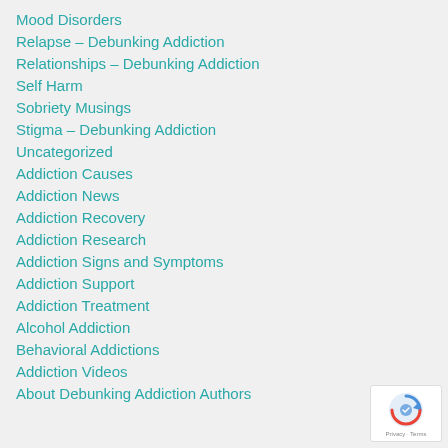Mood Disorders
Relapse – Debunking Addiction
Relationships – Debunking Addiction
Self Harm
Sobriety Musings
Stigma – Debunking Addiction
Uncategorized
Addiction Causes
Addiction News
Addiction Recovery
Addiction Research
Addiction Signs and Symptoms
Addiction Support
Addiction Treatment
Alcohol Addiction
Behavioral Addictions
Addiction Videos
About Debunking Addiction Authors